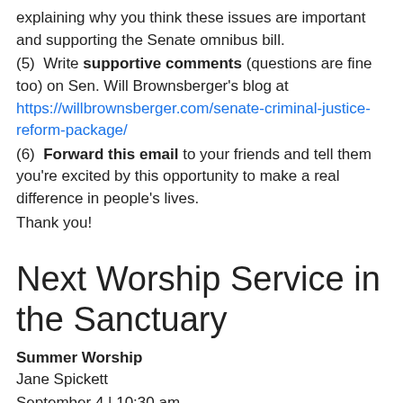explaining why you think these issues are important and supporting the Senate omnibus bill.
(5)  Write supportive comments (questions are fine too) on Sen. Will Brownsberger's blog at https://willbrownsberger.com/senate-criminal-justice-reform-package/
(6)  Forward this email to your friends and tell them you're excited by this opportunity to make a real difference in people's lives.
Thank you!
Next Worship Service in the Sanctuary
Summer Worship
Jane Spickett
September 4 | 10:30 am